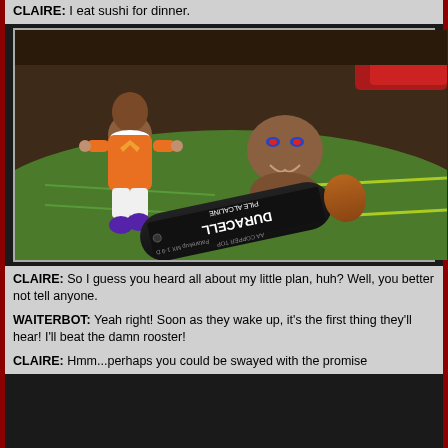CLAIRE: I eat sushi for dinner.
[Figure (photo): Photo of a Playmobil-style orange-suited toy figure sitting on a green surface next to a small brown alien/monster figure with glowing red eyes, and a Duracell Pile Alcaline battery lying in the foreground. A red object is visible in the upper right background.]
CLAIRE: So I guess you heard all about my little plan, huh? Well, you better not tell anyone.

WAITERBOT: Yeah right! Soon as they wake up, it's the first thing they'll hear! I'll beat the damn rooster!

CLAIRE: Hmm...perhaps you could be swayed with the promise